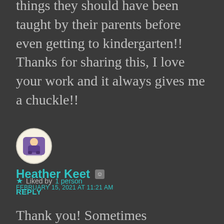things they should have been taught by their parents before even getting to kindergarten!! Thanks for sharing this, I love your work and it always gives me a chuckle!!
★ Liked by 1 person
REPLY
[Figure (illustration): Circular avatar with purple/violet cartoon illustration on cream background]
Heather Keet
FEBRUARY 15, 2021 AT 11:21 AM
Thank you! Sometimes diplomacy is the